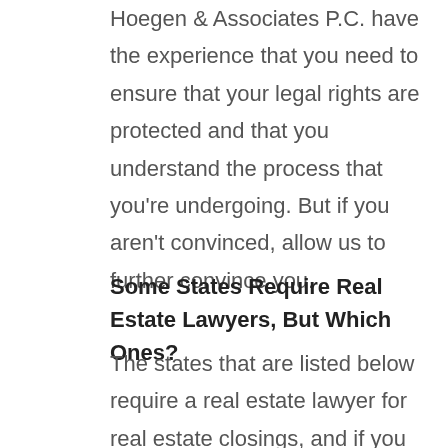Hoegen & Associates P.C. have the experience that you need to ensure that your legal rights are protected and that you understand the process that you're undergoing. But if you aren't convinced, allow us to further convince you.
Some States Require Real Estate Lawyers, But Which Ones?
The states that are listed below require a real estate lawyer for real estate closings, and if you are buying or selling, usually your real estate agent will take care of this step in the transaction process but you may want to